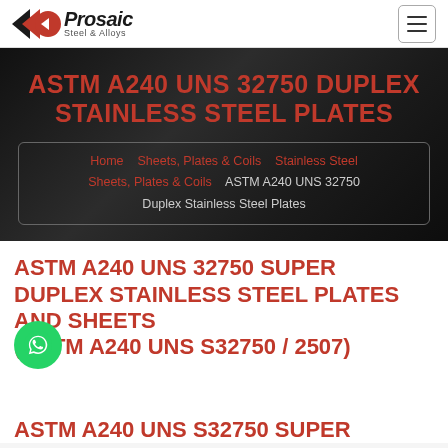Prosaic Steel & Alloys
ASTM A240 UNS 32750 DUPLEX STAINLESS STEEL PLATES
Home  Sheets, Plates & Coils  Stainless Steel Sheets, Plates & Coils  ASTM A240 UNS 32750 Duplex Stainless Steel Plates
ASTM A240 UNS 32750 SUPER DUPLEX STAINLESS STEEL PLATES AND SHEETS (ASTM A240 UNS S32750 / 2507)
ASTM A240 UNS S32750 SUPER